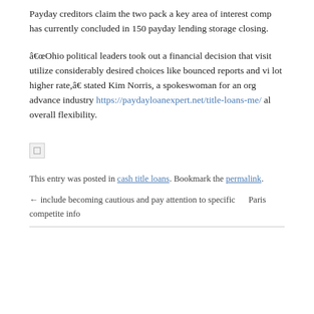Payday creditors claim the two pack a key area of interest comp has currently concluded in 150 payday lending storage closing.
“Ohio political leaders took out a financial decision that visit utilize considerably desired choices like bounced reports and vis lot higher rate,” stated Kim Norris, a spokeswoman for an org advance industry https://paydayloanexpert.net/title-loans-me/ al overall flexibility.
[Figure (photo): Broken/missing image placeholder icon]
This entry was posted in cash title loans. Bookmark the permalink.
← include becoming cautious and pay attention to specific    Paris competite info